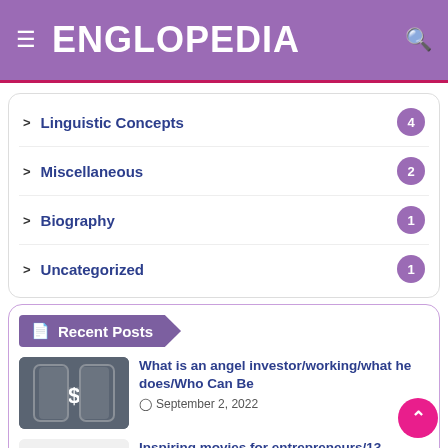ENGLOPEDIA
Linguistic Concepts 4
Miscellaneous 2
Biography 1
Uncategorized 1
Recent Posts
What is an angel investor/working/what he does/Who Can Be
September 2, 2022
Inspiring movies for entrepreneurs/13 Movies of Entrepreneurship